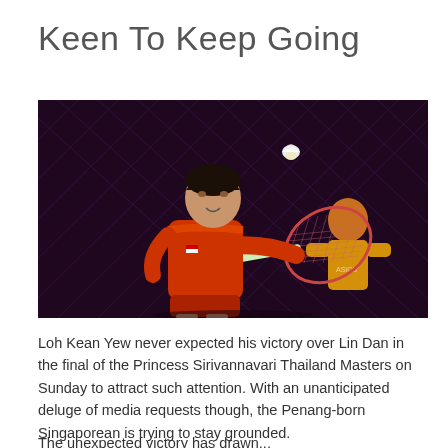Keen To Keep Going
[Figure (photo): Badminton player Loh Kean Yew in a red jersey reaching to hit a shuttlecock with his racket on a dark court with a net visible in the background. Another player in an orange jersey is visible in the background.]
Loh Kean Yew never expected his victory over Lin Dan in the final of the Princess Sirivannavari Thailand Masters on Sunday to attract such attention. With an unanticipated deluge of media requests though, the Penang-born Singaporean is trying to stay grounded.